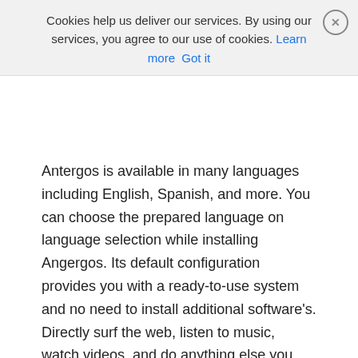[Figure (screenshot): Cookie consent banner overlay with text 'Cookies help us deliver our services. By using our services, you agree to our use of cookies.' with 'Learn more' and 'Got it' links and a close button]
Antergos is available in many languages including English, Spanish, and more. You can choose the prepared language on language selection while installing Angergos. Its default configuration provides you with a ready-to-use system and no need to install additional software's. Directly surf the web, listen to music, watch videos, and do anything else you like.
The Antergos Project was originally started under the name Cinnarch, and provided only one desktop environment. Now it's offering multiple desktops (including Cinnamon, Gnome, KDE, MATE, Openbox & Yfce) allowing users to select their favorite desktop